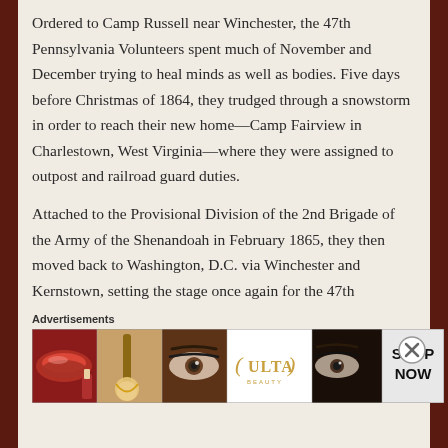Ordered to Camp Russell near Winchester, the 47th Pennsylvania Volunteers spent much of November and December trying to heal minds as well as bodies. Five days before Christmas of 1864, they trudged through a snowstorm in order to reach their new home—Camp Fairview in Charlestown, West Virginia—where they were assigned to outpost and railroad guard duties.
Attached to the Provisional Division of the 2nd Brigade of the Army of the Shenandoah in February 1865, they then moved back to Washington, D.C. via Winchester and Kernstown, setting the stage once again for the 47th
Advertisements
[Figure (photo): Advertisement banner for ULTA beauty products showing close-up images of lips with lipstick, makeup brushes, eyes with mascara, ULTA logo, and a SHOP NOW call to action.]